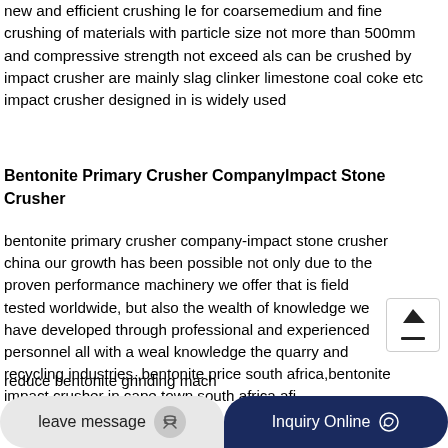new and efficient crushing le for coarsemedium and fine crushing of materials with particle size not more than 500mm and compressive strength not exceed als can be crushed by impact crusher are mainly slag clinker limestone coal coke etc impact crusher designed in is widely used
Bentonite Primary Crusher CompanyImpact Stone Crusher
bentonite primary crusher company-impact stone crusher china our growth has been possible not only due to the proven performance machinery we offer that is field tested worldwide, but also the wealth of knowledge we have developed through professional and experienced personnel all with a wealth of knowledge the quarry and recycling industries.,bentonite price south africa,bentonite impact crusher in cape town south africa africa bentonite impact crusher
reduce bentonite grinding mach